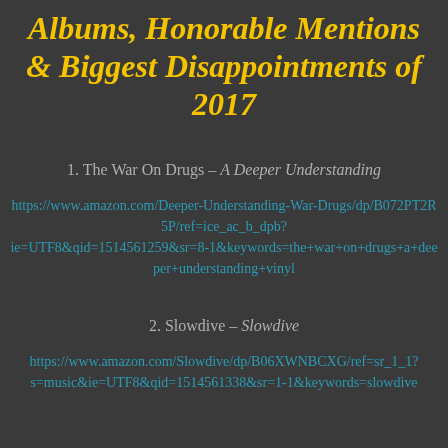Albums, Honorable Mentions & Biggest Disappointments of 2017
1. The War On Drugs – A Deeper Understanding
https://www.amazon.com/Deeper-Understanding-War-Drugs/dp/B072PT2R5P/ref=ice_ac_b_dpb?ie=UTF8&qid=1514561259&sr=8-1&keywords=the+war+on+drugs+a+deeper+understanding+vinyl
2. Slowdive – Slowdive
https://www.amazon.com/Slowdive/dp/B06XWNBCXG/ref=sr_1_1?s=music&ie=UTF8&qid=1514561338&sr=1-1&keywords=slowdive